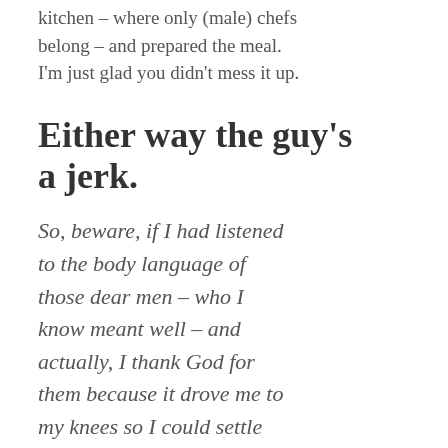kitchen – where only (male) chefs belong – and prepared the meal. I'm just glad you didn't mess it up.
Either way the guy's a jerk.
So, beware, if I had listened to the body language of those dear men – who I know meant well – and actually, I thank God for them because it drove me to my knees so I could settle that issue – but if I had listened to them, for over